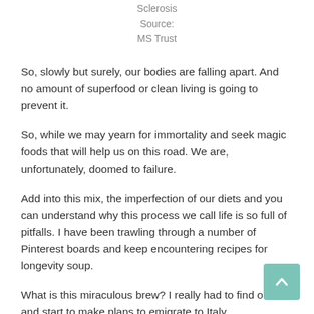Sclerosis
Source:
MS Trust
So, slowly but surely, our bodies are falling apart. And no amount of superfood or clean living is going to prevent it.
So, while we may yearn for immortality and seek magic foods that will help us on this road. We are, unfortunately, doomed to failure.
Add into this mix, the imperfection of our diets and you can understand why this process we call life is so full of pitfalls. I have been trawling through a number of Pinterest boards and keep encountering recipes for longevity soup.
What is this miraculous brew? I really had to find out and start to make plans to emigrate to Italy.
Traditionally, the Sardinian soup called s'erbuzzu is